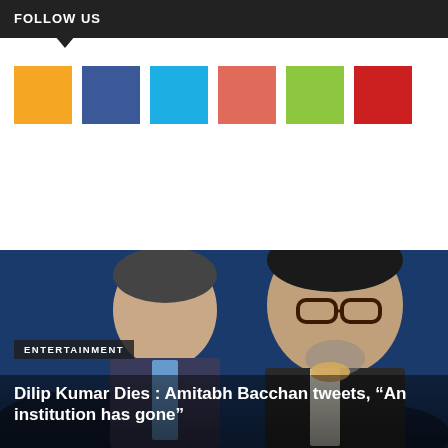FOLLOW US
[Figure (infographic): Six colored social media icon squares: orange, dark blue, light blue, red-orange, green, red]
POPULAR NEWS
[Figure (photo): Photo of two men in formal attire — Dilip Kumar and Amitabh Bacchan — against a blue background]
ENTERTAINMENT
Dilip Kumar Dies : Amitabh Bacchan tweets, “An institution has gone”